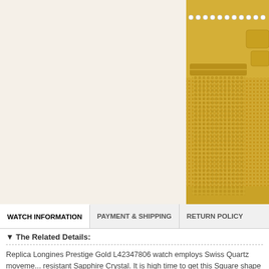[Figure (photo): Gold watch with diamond bezel and gold mesh bracelet, cropped from upper right portion of page]
WATCH INFORMATION   PAYMENT & SHIPPING   RETURN POLICY
▼ The Related Details:
Replica Longines Prestige Gold L42347806 watch employs Swiss Quartz movement, resistant Sapphire Crystal. It is high time to get this Square shape watch!
▼ The Related Specifications:
| Attribute | Value |
| --- | --- |
| Itemnumber: | L42347806 |
| Brand Name: | Longines |
| Series: | Longines Prestige Gold |
| Movement: | Swiss Quartz |
| Style Number: | L42347806 |